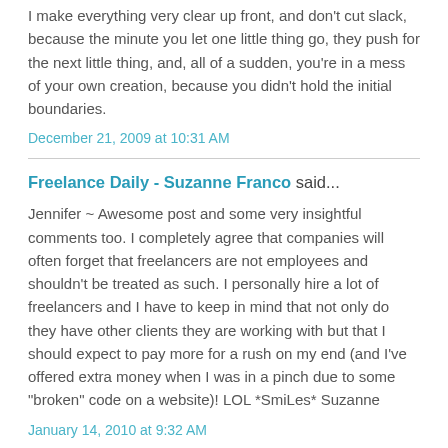I make everything very clear up front, and don't cut slack, because the minute you let one little thing go, they push for the next little thing, and, all of a sudden, you're in a mess of your own creation, because you didn't hold the initial boundaries.
December 21, 2009 at 10:31 AM
Freelance Daily - Suzanne Franco said...
Jennifer ~ Awesome post and some very insightful comments too. I completely agree that companies will often forget that freelancers are not employees and shouldn't be treated as such. I personally hire a lot of freelancers and I have to keep in mind that not only do they have other clients they are working with but that I should expect to pay more for a rush on my end (and I've offered extra money when I was in a pinch due to some "broken" code on a website)! LOL *SmiLes* Suzanne
January 14, 2010 at 9:32 AM